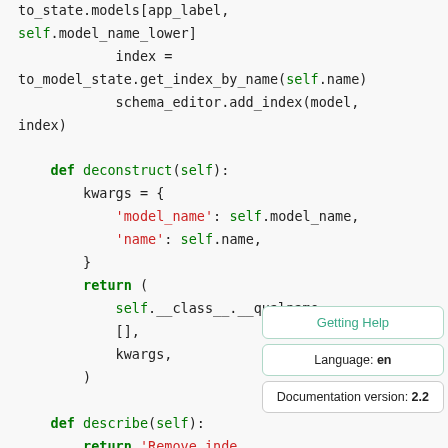Code snippet showing Python migration operations with def deconstruct(self) and def describe(self) methods, including to_state.models, schema_editor.add_index, kwargs dict, and return statements.
[Figure (screenshot): Getting Help tooltip with Language: en and Documentation version: 2.2 overlaid on code]